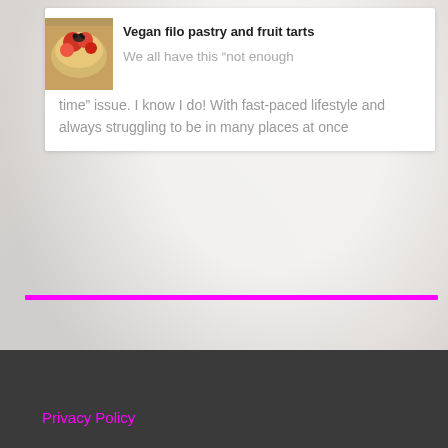[Figure (photo): Thumbnail image of vegan filo pastry and fruit tarts with berries and fruit on top]
Vegan filo pastry and fruit tarts
We all have this “not enough time” issue. I know I do! With fast-paced lifestyle and always struggling to be in many places at once
Privacy Policy